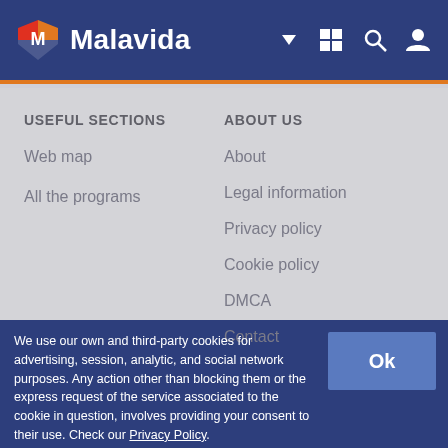Malavida
USEFUL SECTIONS
Web map
All the programs
ABOUT US
About
Legal information
Privacy policy
Cookie policy
DMCA
Contact
We use our own and third-party cookies for advertising, session, analytic, and social network purposes. Any action other than blocking them or the express request of the service associated to the cookie in question, involves providing your consent to their use. Check our Privacy Policy.